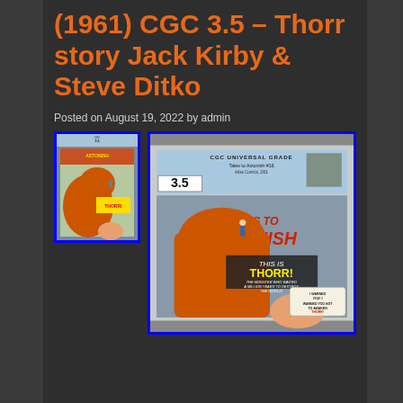(1961) CGC 3.5 – Thorr story Jack Kirby & Steve Ditko
Posted on August 19, 2022 by admin
[Figure (photo): Small thumbnail image of Tales to Astonish comic book with CGC 3.5 grade label, showing colorful cover with monster/creature]
[Figure (photo): Large CGC graded comic book slab showing Tales to Astonish #16 graded 3.5, with CGC Universal Grade blue label showing 3.5, and comic cover featuring 'TALES TO ASTONISH' title with 'THIS IS THORR! THE MONSTER WHO WAITED A MILLION YEARS TO DESTROY THE WORLD!' text, showing large orange monster fist and a small figure, with speech bubble 'I WARNED YOU! I WARNED YOU NOT TO AWAKEN THORR! NOW IT'S TOO LATE! TOO LATE!']